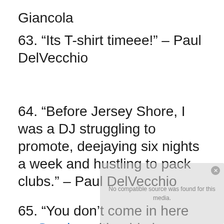Giancola
63. “Its T-shirt timeee!” – Paul DelVecchio
64. “Before Jersey Shore, I was a DJ struggling to promote, deejaying six nights a week and hustling to pack clubs.” – Paul DelVecchio
65. “You don’t come in here on Sunday with a big banana and expect everything to be peaches.” – Paul